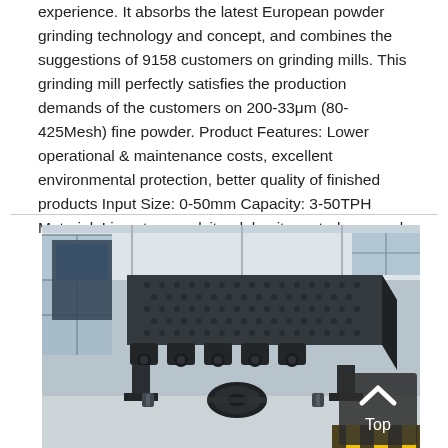experience. It absorbs the latest European powder grinding technology and concept, and combines the suggestions of 9158 customers on grinding mills. This grinding mill perfectly satisfies the production demands of the customers on 200-33μm (80-425Mesh) fine powder. Product Features: Lower operational & maintenance costs, excellent environmental protection, better quality of finished products Input Size: 0-50mm Capacity: 3-50TPH Material: Limestone, calcite, dolomite, petroleum coal,
[Figure (photo): Industrial grinding/screening machine photographed in a large factory warehouse. The machine is large, dark grey/black, with a rectangular sieving deck, multiple eccentric motors mounted along the side, and a drive belt/wheel assembly visible at the front-bottom. The factory interior has large windows, white ceiling structure, and concrete floors. A 'Top' navigation button overlay is visible at bottom-right.]